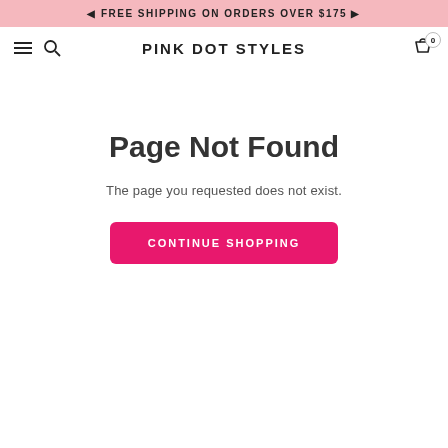◄ FREE SHIPPING ON ORDERS OVER $175 ►
PINK DOT STYLES
Page Not Found
The page you requested does not exist.
CONTINUE SHOPPING